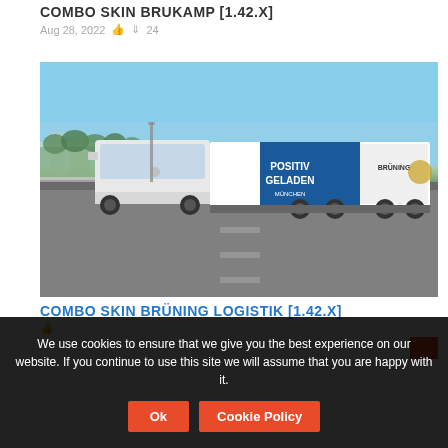COMBO SKIN BRUKAMP [1.42.X]
Aug 28, 2022  👍  ⬇ 24
[Figure (screenshot): Screenshot of a Euro Truck Simulator 2 scene showing a white Mercedes-Benz truck with a blue and white trailer reading 'POSITIV GELADEN' and 'BRÜNING' on a highway road with trees and sky in the background.]
COMBO SKIN BRÜNING LOGISTIK [1.42.X]
We use cookies to ensure that we give you the best experience on our website. If you continue to use this site we will assume that you are happy with it.